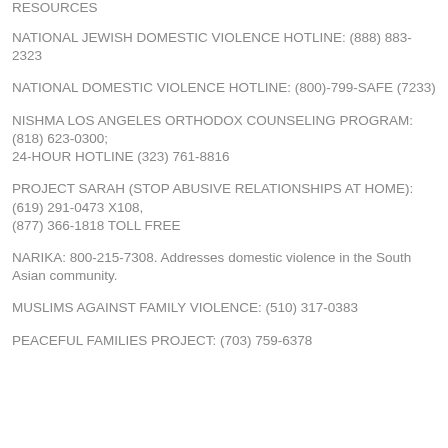RESOURCES
NATIONAL JEWISH DOMESTIC VIOLENCE HOTLINE: (888) 883-2323
NATIONAL DOMESTIC VIOLENCE HOTLINE: (800)-799-SAFE (7233)
NISHMA LOS ANGELES ORTHODOX COUNSELING PROGRAM: (818) 623-0300;
24-HOUR HOTLINE (323) 761-8816
PROJECT SARAH (STOP ABUSIVE RELATIONSHIPS AT HOME): (619) 291-0473 X108,
(877) 366-1818 TOLL FREE
NARIKA: 800-215-7308. Addresses domestic violence in the South Asian community.
MUSLIMS AGAINST FAMILY VIOLENCE: (510) 317-0383
PEACEFUL FAMILIES PROJECT: (703) 759-6378